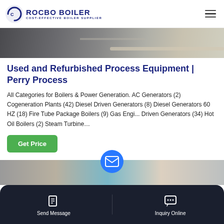ROCBO BOILER — COST-EFFECTIVE BOILER SUPPLIER
[Figure (photo): Industrial equipment / boiler machinery photo strip]
Used and Refurbished Process Equipment | Perry Process
All Categories for Boilers & Power Generation. AC Generators (2) Cogeneration Plants (42) Diesel Driven Generators (8) Diesel Generators 60 HZ (18) Fire Tube Package Boilers (9) Gas Engi... Driven Generators (34) Hot Oil Boilers (2) Steam Turbine...
[Figure (screenshot): Get Price green button]
[Figure (photo): Bottom partial photo with blue email circle and dark bottom bar with Send Message and Inquiry Online]